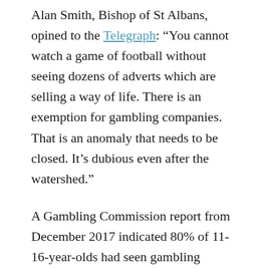Alan Smith, Bishop of St Albans, opined to the Telegraph: “You cannot watch a game of football without seeing dozens of adverts which are selling a way of life. There is an exemption for gambling companies. That is an anomaly that needs to be closed. It’s dubious even after the watershed.”
A Gambling Commission report from December 2017 indicated 80% of 11-16-year-olds had seen gambling advertisements on television. Research into the impact of such advertising on young people, commissioned by